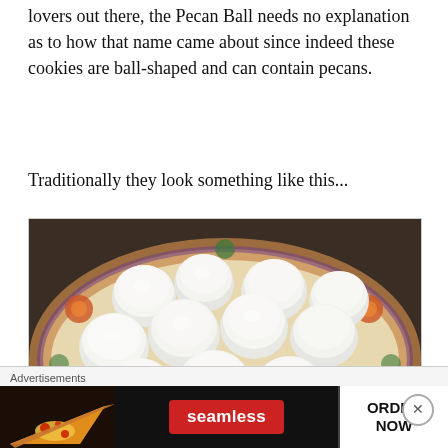lovers out there, the Pecan Ball needs no explanation as to how that name came about since indeed these cookies are ball-shaped and can contain pecans.
Traditionally they look something like this...
[Figure (photo): A decorative floral-patterned plate piled high with round, powdered-sugar-dusted pecan ball cookies.]
Advertisements
[Figure (screenshot): Seamless food delivery advertisement banner showing pizza image on left, Seamless logo in red pill in center, and ORDER NOW button on right.]